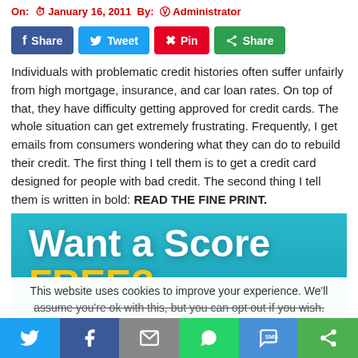On: January 16, 2011 By: Administrator
[Figure (infographic): Social share buttons row: Facebook Share (blue), Twitter Tweet (light blue), Pinterest Pin (red), Share (green)]
Individuals with problematic credit histories often suffer unfairly from high mortgage, insurance, and car loan rates. On top of that, they have difficulty getting approved for credit cards. The whole situation can get extremely frustrating. Frequently, I get emails from consumers wondering what they can do to rebuild their credit. The first thing I tell them is to get a credit card designed for people with bad credit. The second thing I tell them is written in bold: READ THE FINE PRINT.
[Figure (infographic): Banner advertisement with cyan gradient background showing 'Want a Score' in white bold text and 'FREE?' in yellow bold text]
This website uses cookies to improve your experience. We'll assume you're ok with this, but you can opt out if you wish.
[Figure (infographic): Bottom social share bar with icons for Twitter, Facebook, Email, WhatsApp, SMS, and More sharing options]